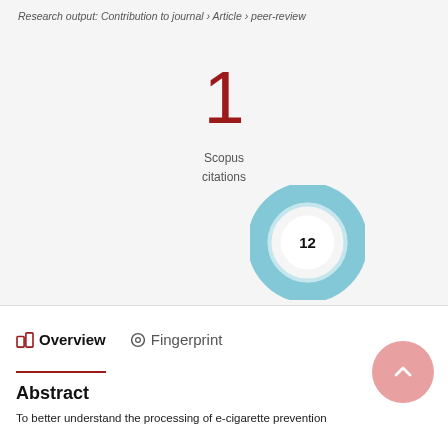Research output: Contribution to journal › Article › peer-review
1
Scopus citations
[Figure (donut-chart): Teal/blue donut chart badge with number 12 in center]
Overview
Fingerprint
Abstract
To better understand the processing of e-cigarette prevention